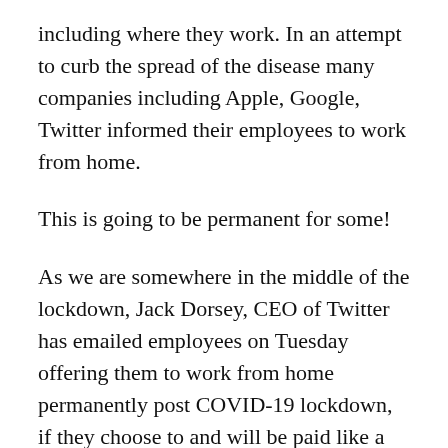including where they work. In an attempt to curb the spread of the disease many companies including Apple, Google, Twitter informed their employees to work from home.
This is going to be permanent for some!
As we are somewhere in the middle of the lockdown, Jack Dorsey, CEO of Twitter has emailed employees on Tuesday offering them to work from home permanently post COVID-19 lockdown, if they choose to and will be paid like a normal working day.
Twitter spokesperson, said:
•